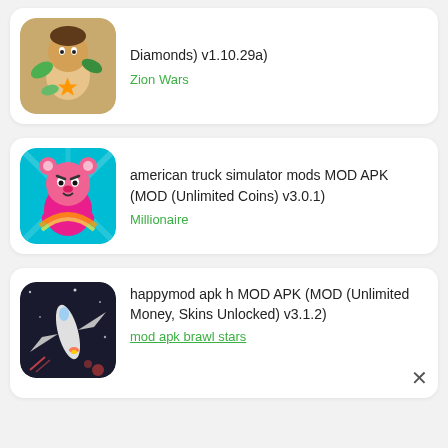[Figure (illustration): Game app icon showing a cartoon character with plant/nature theme]
Diamonds) v1.10.29a)
Zion Wars
[Figure (illustration): Game app icon showing a pink cartoon bear character driving]
american truck simulator mods MOD APK (MOD (Unlimited Coins) v3.0.1)
Millionaire
[Figure (illustration): Game app icon showing a space/aircraft shooter game scene]
happymod apk h MOD APK (MOD (Unlimited Money, Skins Unlocked) v3.1.2)
mod apk brawl stars